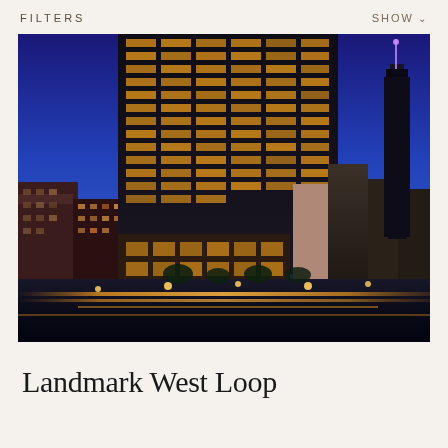FILTERS   SHOW
[Figure (photo): Nighttime aerial photograph of Landmark West Loop building in Chicago. A tall dark glass office/residential tower rises prominently on the left against a deep blue twilight sky. The Chicago skyline including the Willis Tower is visible in the background on the right. Highway light trails stream across the foreground at the bottom of the image.]
Landmark West Loop